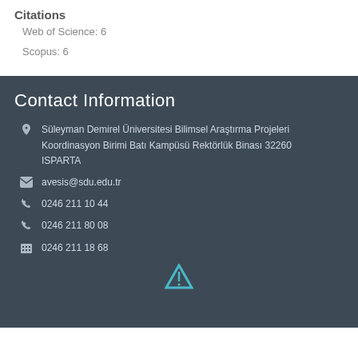Citations
Web of Science: 6
Scopus: 6
Contact Information
Süleyman Demirel Üniversitesi Bilimsel Araştırma Projeleri Koordinasyon Birimi Batı Kampüsü Rektörlük Binası 32260 ISPARTA
avesis@sdu.edu.tr
0246 211 10 44
0246 211 80 08
0246 211 18 68